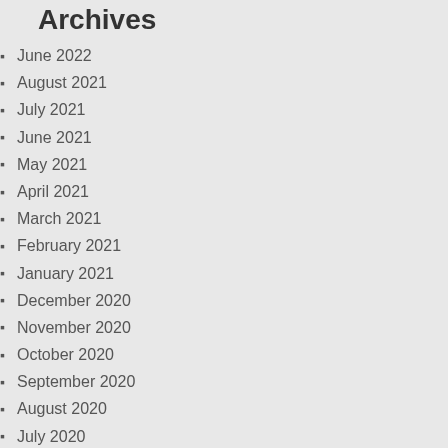Archives
June 2022
August 2021
July 2021
June 2021
May 2021
April 2021
March 2021
February 2021
January 2021
December 2020
November 2020
October 2020
September 2020
August 2020
July 2020
June 2020